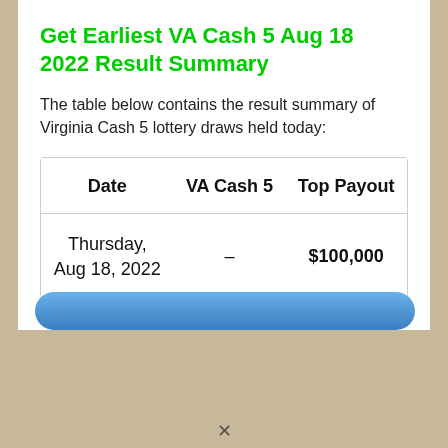Get Earliest VA Cash 5 Aug 18 2022 Result Summary
The table below contains the result summary of Virginia Cash 5 lottery draws held today:
| Date | VA Cash 5 | Top Payout |
| --- | --- | --- |
| Thursday, Aug 18, 2022 | – | $100,000 |